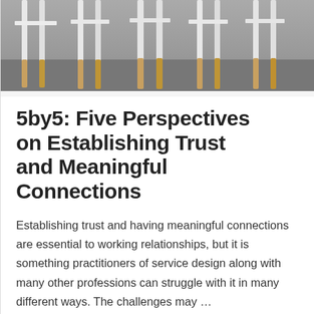[Figure (photo): Photograph of modern white chairs with wooden legs viewed from below/behind against a grey background]
5by5: Five Perspectives on Establishing Trust and Meaningful Connections
Establishing trust and having meaningful connections are essential to working relationships, but it is something practitioners of service design along with many other professions can struggle with it in many different ways. The challenges may …